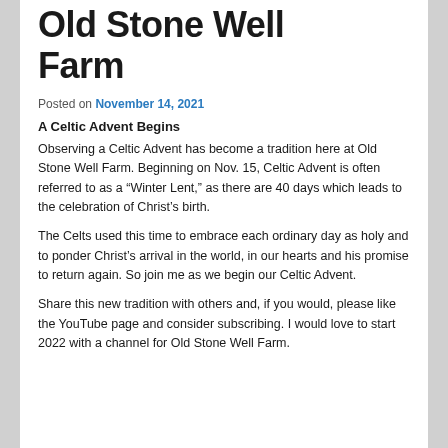Old Stone Well Farm
Posted on November 14, 2021
A Celtic Advent Begins
Observing a Celtic Advent has become a tradition here at Old Stone Well Farm. Beginning on Nov. 15, Celtic Advent is often referred to as a “Winter Lent,” as there are 40 days which leads to the celebration of Christ’s birth.
The Celts used this time to embrace each ordinary day as holy and to ponder Christ’s arrival in the world, in our hearts and his promise to return again. So join me as we begin our Celtic Advent.
Share this new tradition with others and, if you would, please like the YouTube page and consider subscribing. I would love to start 2022 with a channel for Old Stone Well Farm.